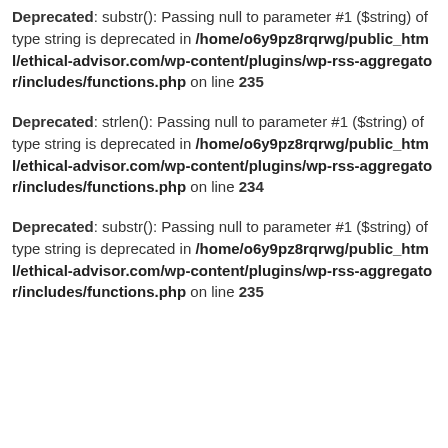Deprecated: substr(): Passing null to parameter #1 ($string) of type string is deprecated in /home/o6y9pz8rqrwg/public_html/ethical-advisor.com/wp-content/plugins/wp-rss-aggregator/includes/functions.php on line 235
Deprecated: strlen(): Passing null to parameter #1 ($string) of type string is deprecated in /home/o6y9pz8rqrwg/public_html/ethical-advisor.com/wp-content/plugins/wp-rss-aggregator/includes/functions.php on line 234
Deprecated: substr(): Passing null to parameter #1 ($string) of type string is deprecated in /home/o6y9pz8rqrwg/public_html/ethical-advisor.com/wp-content/plugins/wp-rss-aggregator/includes/functions.php on line 235